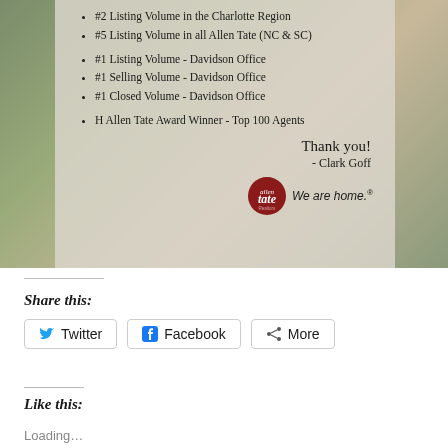[Figure (photo): Real estate promotional image with semi-transparent overlay box listing Clark Goff's achievements at Allen Tate Realtors, including listing/selling/closed volume rankings and H Allen Tate Award, with 'Thank you! - Clark Goff' and Allen Tate 'We are home.' logo]
Share this:
Twitter
Facebook
More
Like this:
Loading...